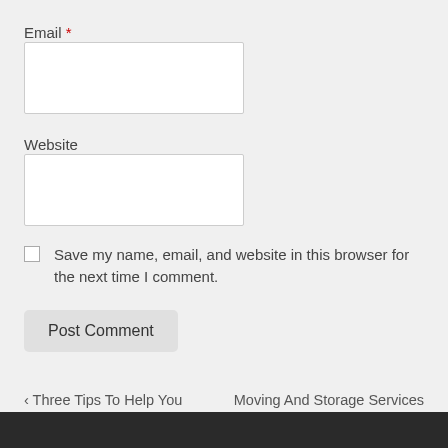Email *
Website
Save my name, email, and website in this browser for the next time I comment.
Post Comment
‹ Three Tips To Help You Choose A Great Family Dentist
Moving And Storage Services In Miami ›